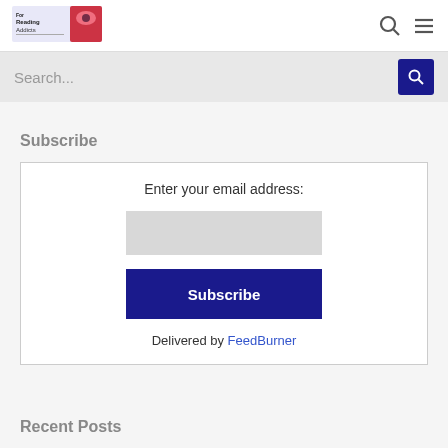[Figure (logo): Reading Addicts blog logo with colorful header image]
[Figure (screenshot): Search bar with placeholder text 'Search...' and dark blue search button]
Subscribe
Enter your email address:
[Figure (screenshot): Email input field (light gray rectangle)]
[Figure (screenshot): Dark blue Subscribe button]
Delivered by FeedBurner
Recent Posts